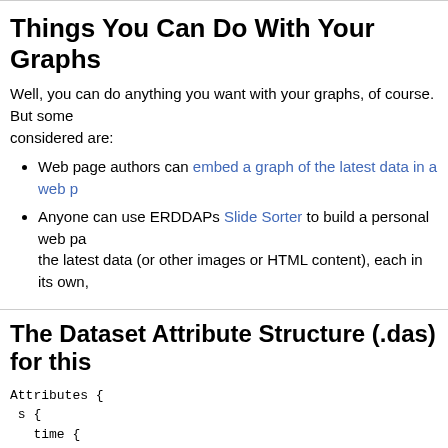Things You Can Do With Your Graphs
Well, you can do anything you want with your graphs, of course. But some things worth considering are:
Web page authors can embed a graph of the latest data in a web p...
Anyone can use ERDDAPs Slide Sorter to build a personal web pa... the latest data (or other images or HTML content), each in its own,...
The Dataset Attribute Structure (.das) for this
Attributes {
 s {
   time {
      String _CoordinateAxisType "Time";
      Float64 actual_range 1.4308248e+9, 1.661916e+9;
      String axis "T";
      String ioos_category "Time";
      String long_name "Time";
      String standard_name "time";
      String time_origin "01-JAN-1970 00:00:00";
      String units "seconds since 1970-01-01T00:00:00Z"